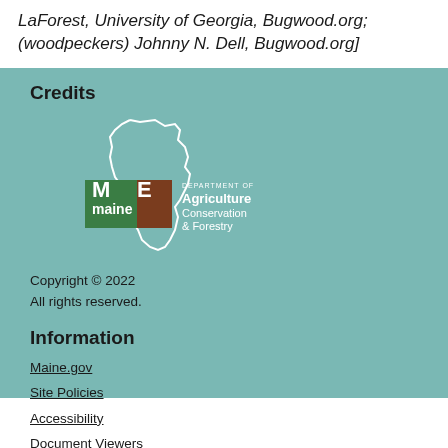LaForest, University of Georgia, Bugwood.org; (woodpeckers) Johnny N. Dell, Bugwood.org]
Credits
[Figure (logo): Maine Department of Agriculture Conservation & Forestry logo with outline of the state of Maine]
Copyright © 2022
All rights reserved.
Information
Maine.gov
Site Policies
Accessibility
Document Viewers
Maine Department of Agriculture, Conservation & Forestry
Board of Pesticides Control